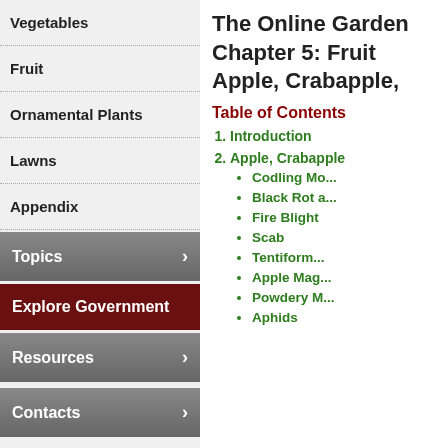Vegetables
Fruit
Ornamental Plants
Lawns
Appendix
Topics
Explore Government
Resources
Contacts
The Online Garden Chapter 5: Fruit Apple, Crabapple,
Table of Contents
1. Introduction
2. Apple, Crabapple
Codling Mo...
Black Rot a...
Fire Blight
Scab
Tentiform...
Apple Mag...
Powdery M...
Aphids